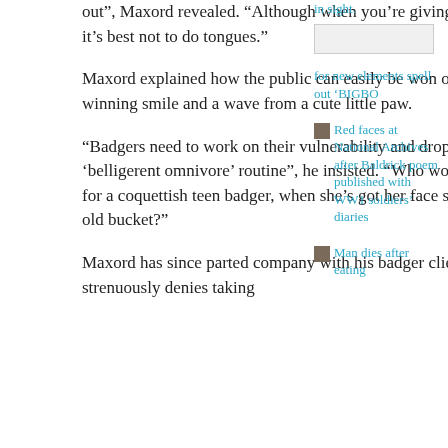out”, Maxord revealed. “Although when you’re giving the kiss of life, it’s best not to do tongues.”
Maxord explained how the public can easily be won over, with just a winning smile and a wave from a cute little paw.
“Badgers need to work on their vulnerability and drop the whole ‘belligerent omnivore’ routine”, he insisted. “Who wouldn’t feel sorry for a coquettish teen badger, when she’s got her face stuck in a rusty old bucket?”
Maxord has since parted company with his badger clientele, but strenuously denies taking
in sight.
for new elements spell out 'BIGBO
Red faces at National Archives after Baldrick poem published with WW1 soldiers' diaries
Man dies after eating